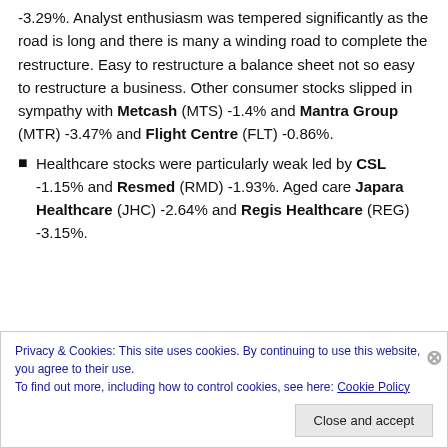-3.29%. Analyst enthusiasm was tempered significantly as the road is long and there is many a winding road to complete the restructure. Easy to restructure a balance sheet not so easy to restructure a business. Other consumer stocks slipped in sympathy with Metcash (MTS) -1.4% and Mantra Group (MTR) -3.47% and Flight Centre (FLT) -0.86%.
Healthcare stocks were particularly weak led by CSL -1.15% and Resmed (RMD) -1.93%. Aged care Japara Healthcare (JHC) -2.64% and Regis Healthcare (REG) -3.15%.
Privacy & Cookies: This site uses cookies. By continuing to use this website, you agree to their use. To find out more, including how to control cookies, see here: Cookie Policy